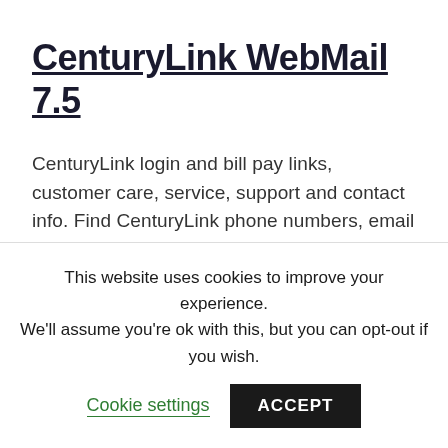CenturyLink WebMail 7.5
CenturyLink login and bill pay links, customer care, service, support and contact info. Find CenturyLink phone numbers, email addresses, and links.
[Figure (logo): CenturyLink Business logo with green icon and text]
This website uses cookies to improve your experience. We'll assume you're ok with this, but you can opt-out if you wish. Cookie settings ACCEPT